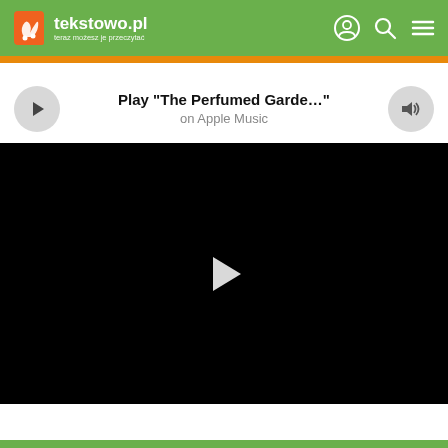tekstowo.pl - teraz możesz je przeczytać
Play "The Perfumed Garde..." on Apple Music
[Figure (screenshot): Black video player with a white play button triangle in the center]